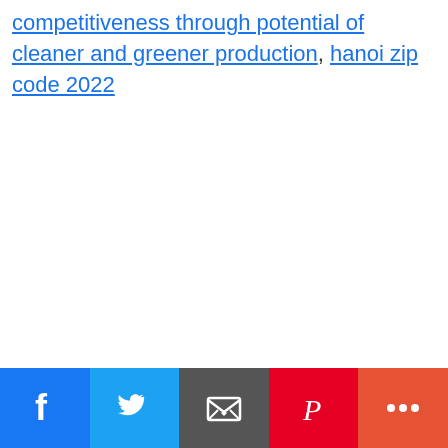competitiveness through potential of cleaner and greener production, hanoi zip code 2022
[Figure (infographic): Social sharing bar with Facebook (blue), Twitter (light blue), Email (dark gray), Pinterest (red), and More (orange-red) buttons, each with white icons]